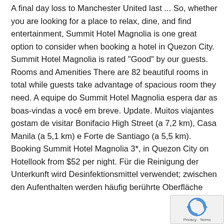A final day loss to Manchester United last ... So, whether you are looking for a place to relax, dine, and find entertainment, Summit Hotel Magnolia is one great option to consider when booking a hotel in Quezon City. Summit Hotel Magnolia is rated "Good" by our guests. Rooms and Amenities There are 82 beautiful rooms in total while guests take advantage of spacious room they need. A equipe do Summit Hotel Magnolia espera dar as boas-vindas a você em breve. Update. Muitos viajantes gostam de visitar Bonifacio High Street (a 7,2 km), Casa Manila (a 5,1 km) e Forte de Santiago (a 5,5 km). Booking Summit Hotel Magnolia 3*, in Quezon City on Hotellook from $52 per night. Für die Reinigung der Unterkunft wird Desinfektionsmittel verwendet; zwischen den Aufenthalten werden häufig berührte Oberfläche
[Figure (other): reCAPTCHA badge with Privacy - Terms text]